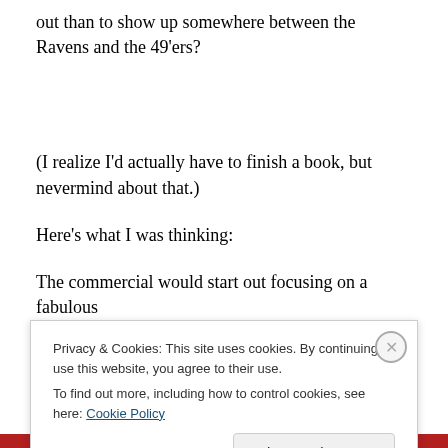out than to show up somewhere between the Ravens and the 49'ers?
(I realize I'd actually have to finish a book, but nevermind about that.)
Here's what I was thinking:
The commercial would start out focusing on a fabulous
Privacy & Cookies: This site uses cookies. By continuing to use this website, you agree to their use.
To find out more, including how to control cookies, see here: Cookie Policy